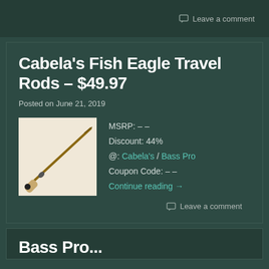Leave a comment
Cabela's Fish Eagle Travel Rods – $49.97
Posted on June 21, 2019
[Figure (photo): Fishing rod product image on light tan/beige background]
MSRP: – –
Discount: 44%
@: Cabela's / Bass Pro
Coupon Code: – –
Continue reading →
Leave a comment
Bass Pro...